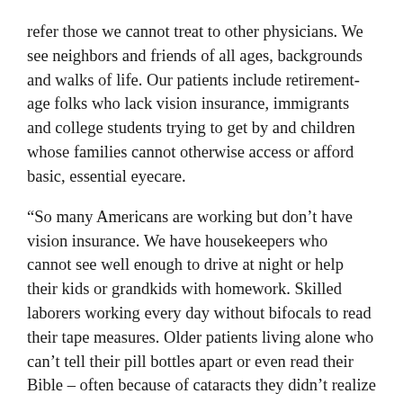refer those we cannot treat to other physicians. We see neighbors and friends of all ages, backgrounds and walks of life. Our patients include retirement-age folks who lack vision insurance, immigrants and college students trying to get by and children whose families cannot otherwise access or afford basic, essential eyecare.
“So many Americans are working but don’t have vision insurance. We have housekeepers who cannot see well enough to drive at night or help their kids or grandkids with homework. Skilled laborers working every day without bifocals to read their tape measures. Older patients living alone who can’t tell their pill bottles apart or even read their Bible – often because of cataracts they didn’t realize had developed.